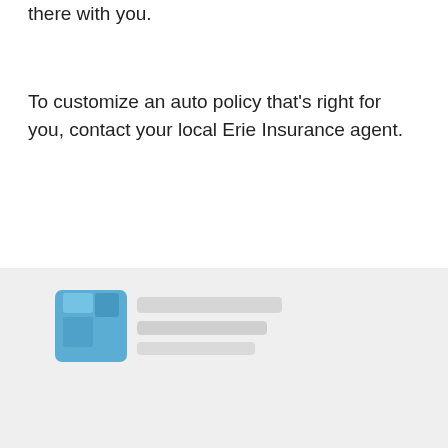around the bend, wherever you go, we're right there with you.
To customize an auto policy that's right for you, contact your local Erie Insurance agent.
[Figure (logo): Erie Insurance logo — blue square icon with stylized 'E' and gray wordmark text 'Erie Insurance' below, set on a light gray background section]
A better insurance